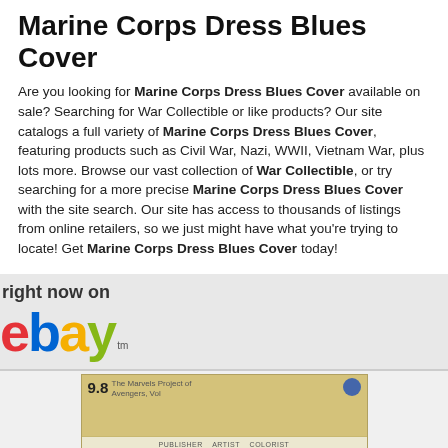Marine Corps Dress Blues Cover
Are you looking for Marine Corps Dress Blues Cover available on sale? Searching for War Collectible or like products? Our site catalogs a full variety of Marine Corps Dress Blues Cover, featuring products such as Civil War, Nazi, WWII, Vietnam War, plus lots more. Browse our vast collection of War Collectible, or try searching for a more precise Marine Corps Dress Blues Cover with the site search. Our site has access to thousands of listings from online retailers, so we just might have what you're trying to locate! Get Marine Corps Dress Blues Cover today!
[Figure (logo): eBay logo with 'right now on' text above it]
[Figure (photo): Product listing image showing a graded comic book - The Marvels Project, graded 9.8]